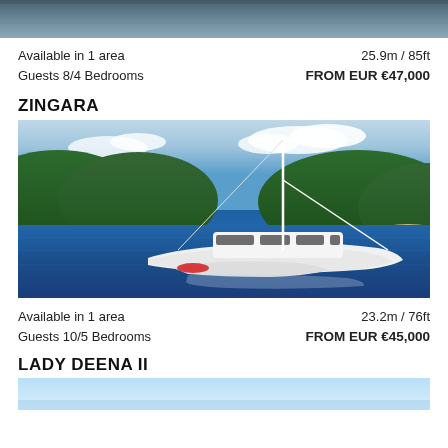[Figure (photo): Top of a yacht photo cropped, showing dark ocean water]
Available in 1 area
Guests 8/4 Bedrooms
25.9m / 85ft
FROM EUR €47,000
ZINGARA
[Figure (photo): Aerial photo of white luxury catamaran ZINGARA sailing in blue Caribbean waters with green hills in background]
Available in 1 area
Guests 10/5 Bedrooms
23.2m / 76ft
FROM EUR €45,000
LADY DEENA II
[Figure (photo): Bottom of page photo showing light blue sky/water]